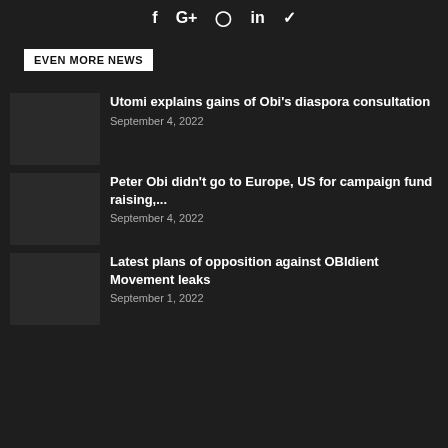[Figure (other): Social media icons: Facebook, Google+, Instagram, LinkedIn, Twitter]
EVEN MORE NEWS
Utomi explains gains of Obi’s diaspora consultation
September 4, 2022
Peter Obi didn’t go to Europe, US for campaign fund raising,...
September 4, 2022
Latest plans of opposition against OBIdient Movement leaks
September 1, 2022